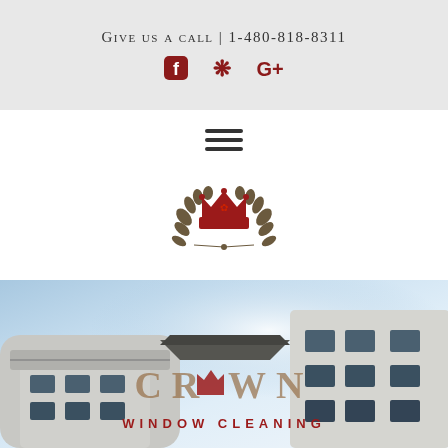Give us a call | 1-480-818-8311
[Figure (infographic): Social media icons: Facebook (f), Yelp (asterisk/flower), Google+ (G+) in dark red/crimson color]
[Figure (infographic): Hamburger menu icon — three horizontal dark lines]
[Figure (logo): Crown Window Cleaning logo: red crown with laurel wreath, circular emblem]
[Figure (photo): Modern white building/house exterior photo with blue sky background, Crown Window Cleaning text overlay: CROWN in large letters and WINDOW CLEANING below in red]